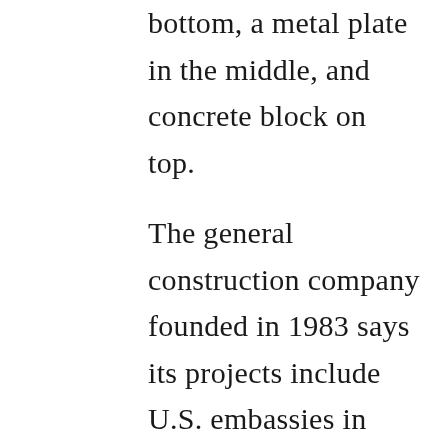bottom, a metal plate in the middle, and concrete block on top.
The general construction company founded in 1983 says its projects include U.S. embassies in Beijing and Kabul, Afghanistan, terminals at Houston's George Bush International Airport and renovations to the Denver Mint.